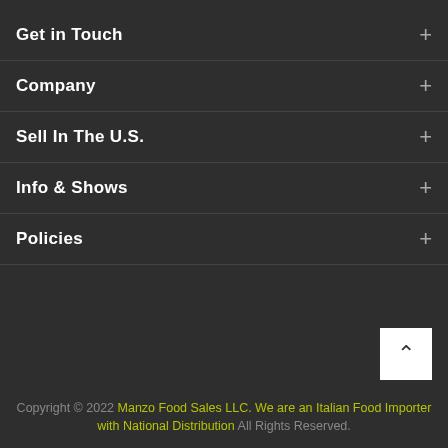Get in Touch
Company
Sell In The U.S.
Info & Shows
Policies
Copyright © 2022 Manzo Food Sales LLC. We are an Italian Food Importer with National Distribution All Rights Reserved.